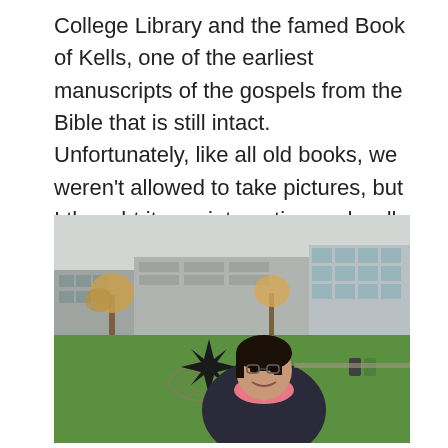College Library and the famed Book of Kells, one of the earliest manuscripts of the gospels from the Bible that is still intact. Unfortunately, like all old books, we weren't allowed to take pictures, but I thought it was interesting and well worth the admission fee.
[Figure (photo): A woman smiling at the camera, standing on a green lawn in front of a modern university campus building. There is a black metal sculpture in the background on the lawn, surrounded by a circular stone pattern. Autumn trees and a glass building are visible in the background under an overcast sky.]